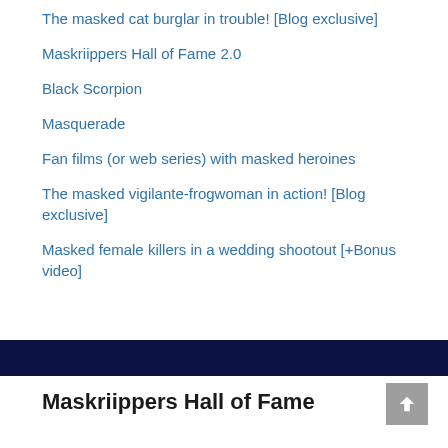The masked cat burglar in trouble! [Blog exclusive]
Maskriippers Hall of Fame 2.0
Black Scorpion
Masquerade
Fan films (or web series) with masked heroines
The masked vigilante-frogwoman in action! [Blog exclusive]
Masked female killers in a wedding shootout [+Bonus video]
Maskriippers Hall of Fame